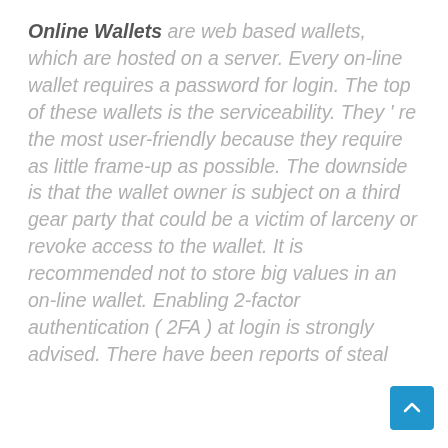Online Wallets are web based wallets, which are hosted on a server. Every on-line wallet requires a password for login. The top of these wallets is the serviceability. They ' re the most user-friendly because they require as little frame-up as possible. The downside is that the wallet owner is subject on a third gear party that could be a victim of larceny or revoke access to the wallet. It is recommended not to store big values in an on-line wallet. Enabling 2-factor authentication ( 2FA ) at login is strongly advised. There have been reports of steal